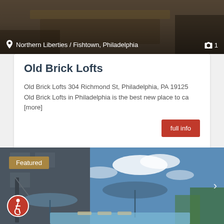[Figure (photo): Top banner photo of an interior space (wooden table/furniture) with dark overlay, showing location label 'Northern Liberties / Fishtown, Philadelphia' and camera icon with '1']
Old Brick Lofts
Old Brick Lofts 304 Richmond St, Philadelphia, PA 19125 Old Brick Lofts in Philadelphia is the best new place to ca [more]
full info
The Condo Shop
[Figure (photo): Bottom listing photo showing an outdoor rooftop/pool area with large umbrellas, blue sky and trees. Features a 'Featured' badge, accessibility icon, and right navigation arrow.]